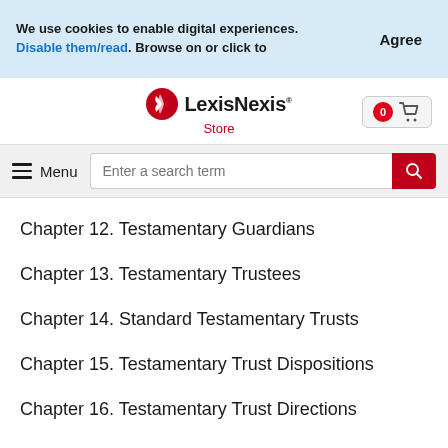We use cookies to enable digital experiences. Disable them/read. Browse on or click to
Agree
[Figure (logo): LexisNexis Store logo with red feather icon]
[Figure (other): Shopping cart button with 0 badge]
Menu
Enter a search term
Chapter 12. Testamentary Guardians
Chapter 13. Testamentary Trustees
Chapter 14. Standard Testamentary Trusts
Chapter 15. Testamentary Trust Dispositions
Chapter 16. Testamentary Trust Directions